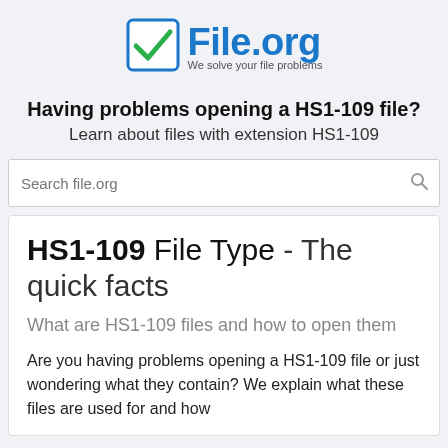[Figure (logo): File.org logo with blue checkbox icon and text 'File.org' in blue, tagline 'We solve your file problems' in gray]
Having problems opening a HS1-109 file?
Learn about files with extension HS1-109
Search file.org
HS1-109 File Type - The quick facts
What are HS1-109 files and how to open them
Are you having problems opening a HS1-109 file or just wondering what they contain? We explain what these files are used for and how